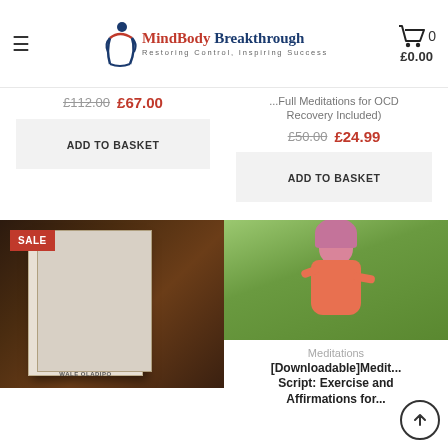MindBody Breakthrough — Restoring Control, Inspiring Success — Cart £0.00
£112.00  £67.00
ADD TO BASKET
(Full Meditations for OCD Recovery Included)  £50.00  £24.99
ADD TO BASKET
[Figure (photo): DVD case of 'The Amygdala Paradox – Treating Generalised Anxiety Disorder and Panic Attacks' by Wale Oladipo, Live Workshop 4 CDs, with a SALE badge]
[Figure (photo): Woman in pink hoodie meditating outdoors in green park setting]
Meditations
[Downloadable]Meditation Script: Exercise and Affirmations for...